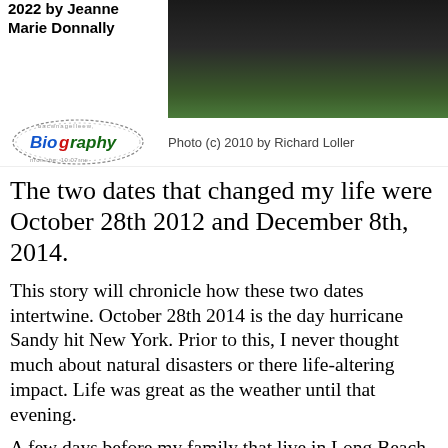2022 by Jeanne Marie Donnally
[Figure (photo): Photo of a person or scene, dark background with green foliage visible at top right]
[Figure (logo): Biography logo — oval shape with handwritten-style border decoration and colorful 'Biography' text]
Photo (c) 2010 by Richard Loller
The two dates that changed my life were October 28th 2012 and December 8th, 2014.
This story will chronicle how these two dates intertwine. October 28th 2014 is the day hurricane Sandy hit New York. Prior to this, I never thought much about natural disasters or there life-altering impact. Life was great as the weather until that evening.
A few days before my family that live in Long Beach New York came to a consensus.